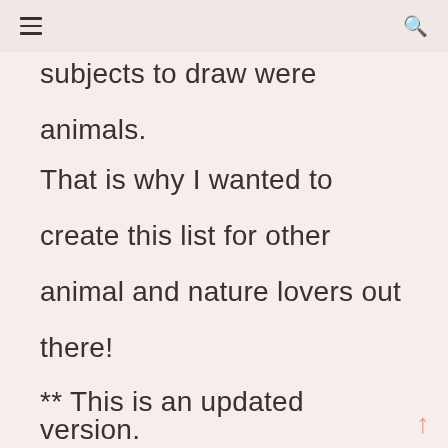≡  🔍
subjects to draw were animals.
That is why I wanted to create this list for other animal and nature lovers out there!
** This is an updated version.